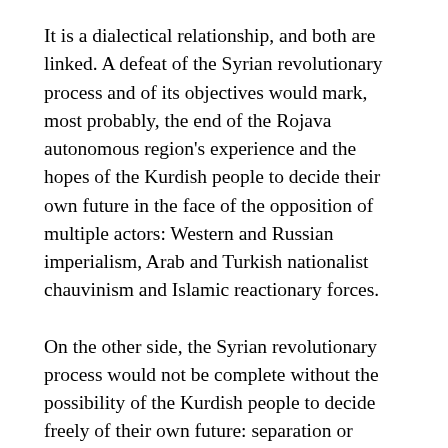It is a dialectical relationship, and both are linked. A defeat of the Syrian revolutionary process and of its objectives would mark, most probably, the end of the Rojava autonomous region's experience and the hopes of the Kurdish people to decide their own future in the face of the opposition of multiple actors: Western and Russian imperialism, Arab and Turkish nationalist chauvinism and Islamic reactionary forces.
On the other side, the Syrian revolutionary process would not be complete without the possibility of the Kurdish people to decide freely of their own future: separation or participation in a democratic, social and secular Syria, with its national rights guaranteed.
We must oppose every counterrevolutionary attempt